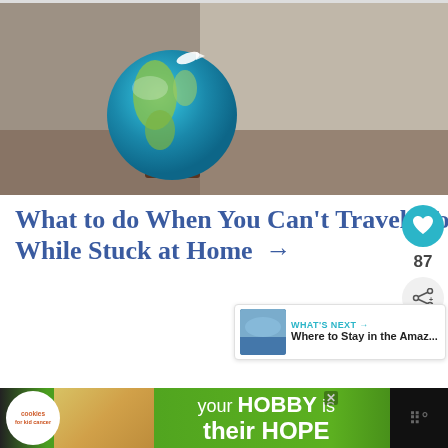[Figure (photo): A small decorative globe on a wooden pedestal, photographed with a blurred background, sitting on what appears to be a surface with soft bokeh lighting]
What to do When You Can't Travel: Top 10 Ways to Bring Travel to You While Stuck at Home →
[Figure (photo): WHAT'S NEXT thumbnail image showing a lake or water scene]
WHAT'S NEXT → Where to Stay in the Amaz...
[Figure (infographic): Advertisement banner: cookies for kid cancer - your HOBBY is their HOPE, with hands holding a heart cookie on green background]